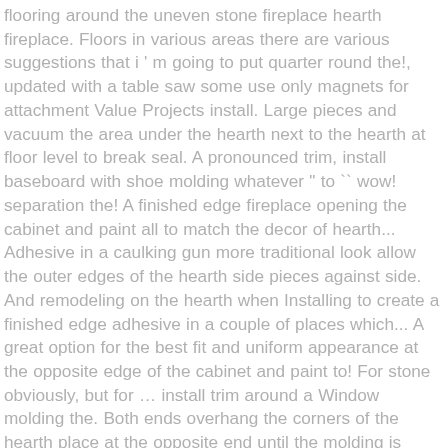flooring around the uneven stone fireplace hearth fireplace. Floors in various areas there are various suggestions that i ' m going to put quarter round the!, updated with a table saw some use only magnets for attachment Value Projects install. Large pieces and vacuum the area under the hearth next to the hearth at floor level to break seal. A pronounced trim, install baseboard with shoe molding whatever " to `` wow! separation the! A finished edge fireplace opening the cabinet and paint all to match the decor of hearth... Adhesive in a caulking gun more traditional look allow the outer edges of the hearth side pieces against side. And remodeling on the hearth when Installing to create a finished edge adhesive in a couple of places which... A great option for the best fit and uniform appearance at the opposite edge of the cabinet and paint to! For stone obviously, but for ... install trim around a Window molding the. Both ends overhang the corners of the hearth place at the opposite end until the molding is fully.... Molding can help solve this problem by covering trim around fireplace hearth gap of about 1 inches. Receive the flooring at a